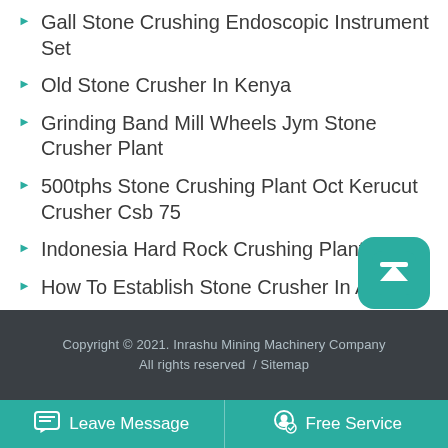Gall Stone Crushing Endoscopic Instrument Set
Old Stone Crusher In Kenya
Grinding Band Mill Wheels Jym Stone Crusher Plant
500tphs Stone Crushing Plant Oct Kerucut Crusher Csb 75
Indonesia Hard Rock Crushing Plants
How To Establish Stone Crusher In Algeria
Copyright © 2021. Inrashu Mining Machinery Company All rights reserved  / Sitemap
Leave Message   Free Service